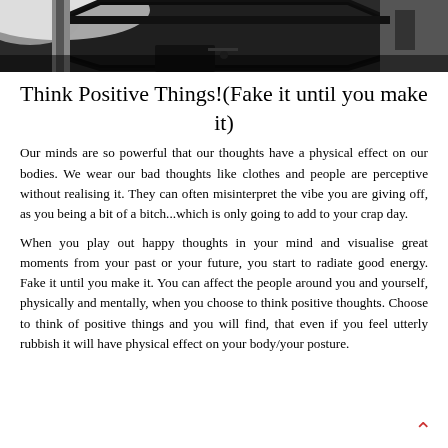[Figure (photo): Black and white photograph showing an architectural structure with an octagonal or angular overhead element, possibly a pergola or building overhang, in an outdoor setting.]
Think Positive Things!(Fake it until you make it)
Our minds are so powerful that our thoughts have a physical effect on our bodies. We wear our bad thoughts like clothes and people are perceptive without realising it. They can often misinterpret the vibe you are giving off, as you being a bit of a bitch...which is only going to add to your crap day.
When you play out happy thoughts in your mind and visualise great moments from your past or your future, you start to radiate good energy. Fake it until you make it. You can affect the people around you and yourself, physically and mentally, when you choose to think positive thoughts. Choose to think of positive things and you will find, that even if you feel utterly rubbish it will have physical effect on your body/your posture.
^